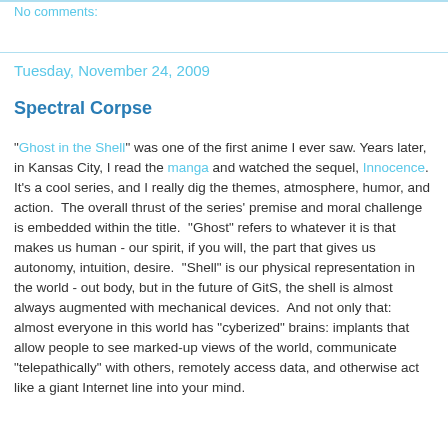No comments:
Tuesday, November 24, 2009
Spectral Corpse
"Ghost in the Shell" was one of the first anime I ever saw. Years later, in Kansas City, I read the manga and watched the sequel, Innocence.  It's a cool series, and I really dig the themes, atmosphere, humor, and action.  The overall thrust of the series' premise and moral challenge is embedded within the title.  "Ghost" refers to whatever it is that makes us human - our spirit, if you will, the part that gives us autonomy, intuition, desire.  "Shell" is our physical representation in the world - out body, but in the future of GitS, the shell is almost always augmented with mechanical devices.  And not only that: almost everyone in this world has "cyberized" brains: implants that allow people to see marked-up views of the world, communicate "telepathically" with others, remotely access data, and otherwise act like a giant Internet line into your mind.